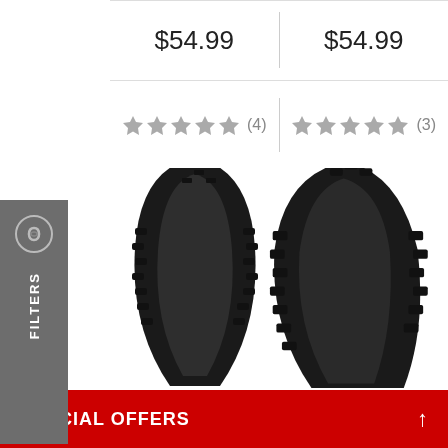$54.99
$54.99
★★★★★ (4)
★★★★★ (3)
[Figure (photo): Black mountain bike tire with knobby tread pattern, left side]
[Figure (photo): Black mountain bike tire with large knobby tread pattern, right side]
FILTERS
SPECIAL OFFERS